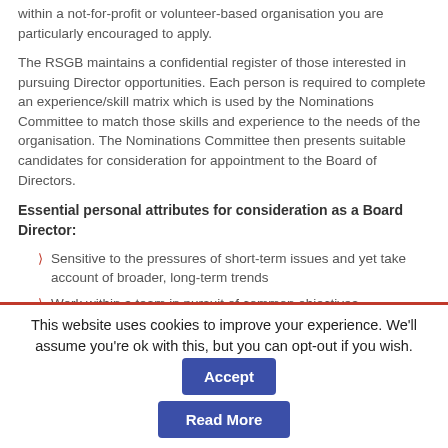within a not-for-profit or volunteer-based organisation you are particularly encouraged to apply.
The RSGB maintains a confidential register of those interested in pursuing Director opportunities. Each person is required to complete an experience/skill matrix which is used by the Nominations Committee to match those skills and experience to the needs of the organisation. The Nominations Committee then presents suitable candidates for consideration for appointment to the Board of Directors.
Essential personal attributes for consideration as a Board Director:
Sensitive to the pressures of short-term issues and yet take account of broader, long-term trends
Work within a team in pursuit of common objectives
Knowledgeable about ‘local’ issues and yet be aware of potential or actual wider competitive influences
Focused on the commercial needs of the Society’s business while acting responsibly towards employees, business
This website uses cookies to improve your experience. We'll assume you're ok with this, but you can opt-out if you wish.
Accept
Read More